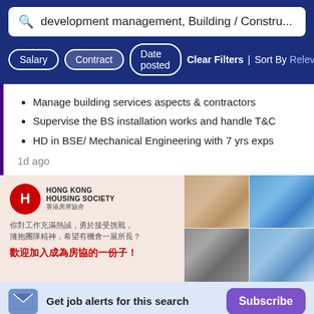development management, Building / Constru...
Salary
Contract
Date posted
Clear Filters | Sort By Relev
Manage building services aspects & contractors
Supervise the BS installation works and handle T&C
HD in BSE/ Mechanical Engineering with 7 yrs exps
1d ago
[Figure (screenshot): Hong Kong Housing Society advertisement banner with logo, Chinese text reading 你對工作充滿熱誠，勇於接受挑戰，擁抱團隊精神，希望有機會一展所長？ and headline 歡迎加入成為房協的一份子！, with photos of interior, pool, building exterior and staff]
Get job alerts for this search
Subscribe